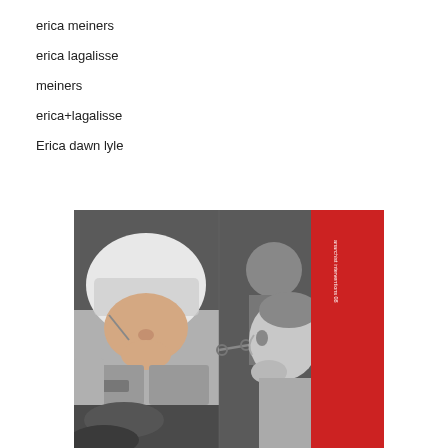erica meiners
erica lagalisse
meiners
erica+lagalisse
Erica dawn lyle
[Figure (illustration): Stylized graphic illustration showing two figures: on the left, a person wearing a white riot police helmet with visor, rendered in grayscale. On the right side, a red vertical band/panel with small vertical text reading 'anarchist interventions 08'. Behind these, a background showing another figure in gray tones. The overall composition is a bold, high-contrast graphic design reminiscent of protest or activist imagery.]